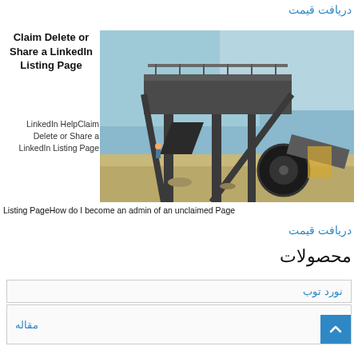دریافت قیمت
Claim Delete or Share a LinkedIn Listing Page
[Figure (photo): Industrial mining/crushing equipment - large steel conveyor and screening machine at a quarry or construction site]
LinkedIn HelpClaim Delete or Share a LinkedIn Listing Page
Listing PageHow do I become an admin of an unclaimed Page
دریافت قیمت
محصولات
| نورد توب |
| مقاله |